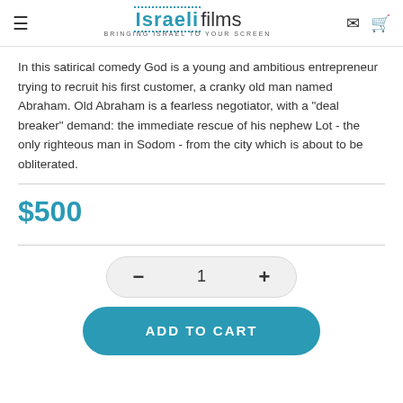IsraeliFilms — Bringing Israel To Your Screen
In this satirical comedy God is a young and ambitious entrepreneur trying to recruit his first customer, a cranky old man named Abraham. Old Abraham is a fearless negotiator, with a "deal breaker" demand: the immediate rescue of his nephew Lot - the only righteous man in Sodom - from the city which is about to be obliterated.
$500
1
ADD TO CART